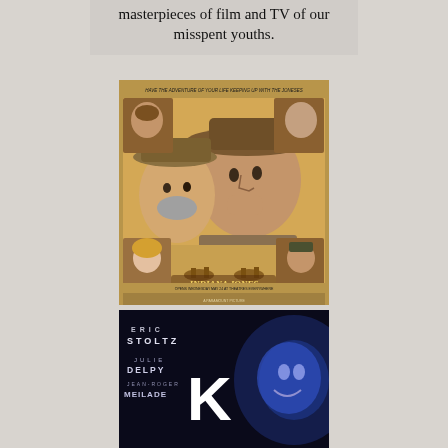masterpieces of film and TV of our misspent youths.
[Figure (photo): Movie poster for Indiana Jones and the Last Crusade. Shows Harrison Ford prominently in the center wearing his iconic fedora, with Sean Connery to the left. Several character vignettes in the corners. Title text in golden Indiana Jones font. Tagline reads 'Have the adventure of your life keeping up with the Joneses'. Bottom text reads 'Opens Wednesday May 24 at theatres everywhere'.]
[Figure (photo): Movie poster for 'K' featuring credits for Eric Stoltz, Julie Delpy, Jean-Roger Meilade. Dark blue background with a glowing face on the right. Title letter K in white bold text.]